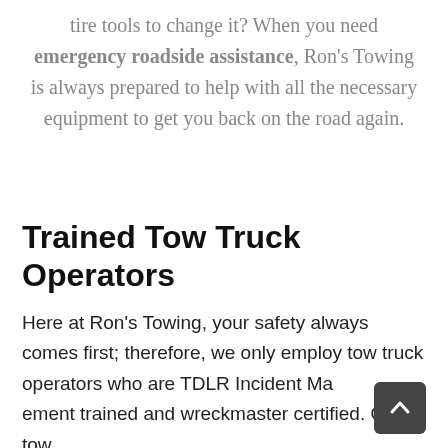tire tools to change it? When you need emergency roadside assistance, Ron's Towing is always prepared to help with all the necessary equipment to get you back on the road again.
Trained Tow Truck Operators
Here at Ron's Towing, your safety always comes first; therefore, we only employ tow truck operators who are TDLR Incident Management trained and wreckmaster certified. Our tow